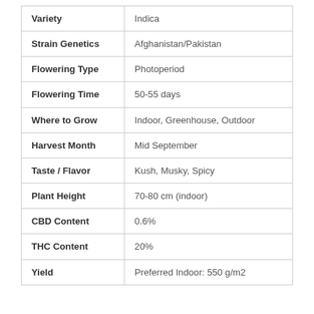| Property | Value |
| --- | --- |
| Variety | Indica |
| Strain Genetics | Afghanistan/Pakistan |
| Flowering Type | Photoperiod |
| Flowering Time | 50-55 days |
| Where to Grow | Indoor, Greenhouse, Outdoor |
| Harvest Month | Mid September |
| Taste / Flavor | Kush, Musky, Spicy |
| Plant Height | 70-80 cm (indoor) |
| CBD Content | 0.6% |
| THC Content | 20% |
| Yield | Preferred Indoor: 550 g/m2 |